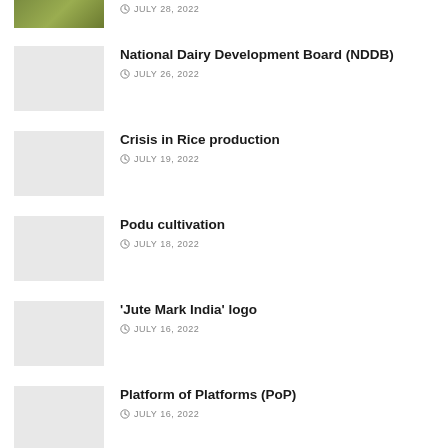JULY 28, 2022
National Dairy Development Board (NDDB) — JULY 26, 2022
Crisis in Rice production — JULY 19, 2022
Podu cultivation — JULY 18, 2022
'Jute Mark India' logo — JULY 16, 2022
Platform of Platforms (PoP) — JULY 16, 2022
Centre to promote dragon fruit cultivation